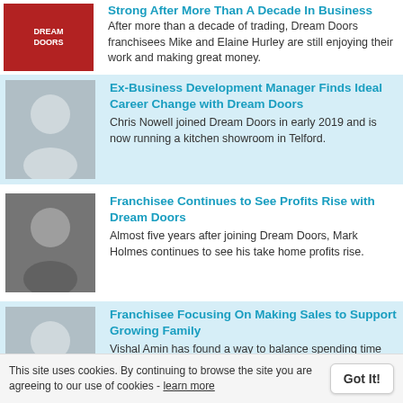[Figure (photo): Dream Doors logo sign on a red background]
Strong After More Than A Decade In Business
After more than a decade of trading, Dream Doors franchisees Mike and Elaine Hurley are still enjoying their work and making great money.
[Figure (photo): Headshot of Chris Nowell, a man in a white shirt]
Ex-Business Development Manager Finds Ideal Career Change with Dream Doors
Chris Nowell joined Dream Doors in early 2019 and is now running a kitchen showroom in Telford.
[Figure (photo): Headshot of Mark Holmes, a man in a dark shirt]
Franchisee Continues to See Profits Rise with Dream Doors
Almost five years after joining Dream Doors, Mark Holmes continues to see his take home profits rise.
[Figure (photo): Headshot of Vishal Amin, a man in a light shirt]
Franchisee Focusing On Making Sales to Support Growing Family
Vishal Amin has found a way to balance spending time with his growing family and earning a great take home salary with Dream Doors.
This site uses cookies. By continuing to browse the site you are agreeing to our use of cookies - learn more